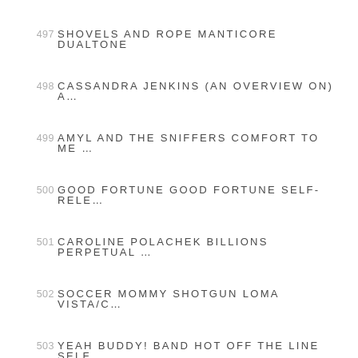497 SHOVELS AND ROPE MANTICORE DUALTONE
498 CASSANDRA JENKINS (AN OVERVIEW ON) A…
499 AMYL AND THE SNIFFERS COMFORT TO ME …
500 GOOD FORTUNE GOOD FORTUNE SELF-RELE…
501 CAROLINE POLACHEK BILLIONS PERPETUAL …
502 SOCCER MOMMY SHOTGUN LOMA VISTA/C…
503 YEAH BUDDY! BAND HOT OFF THE LINE SELF…
504 KEE AVIL CREASE CONSTELLATION
505 FIEH IN THE SUN IN THE RAIN JANSEN